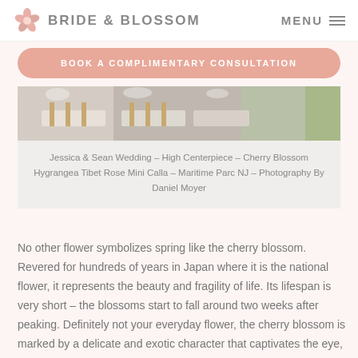BRIDE & BLOSSOM  MENU
BOOK A COMPLIMENTARY CONSULTATION
[Figure (photo): Wedding reception table setting with floral centerpieces, chairs, and decorations]
Jessica & Sean Wedding – High Centerpiece – Cherry Blossom Hygrangea Tibet Rose Mini Calla – Maritime Parc NJ – Photography By Daniel Moyer
No other flower symbolizes spring like the cherry blossom. Revered for hundreds of years in Japan where it is the national flower, it represents the beauty and fragility of life. Its lifespan is very short – the blossoms start to fall around two weeks after peaking. Definitely not your everyday flower, the cherry blossom is marked by a delicate and exotic character that captivates the eye, heart, and mind.